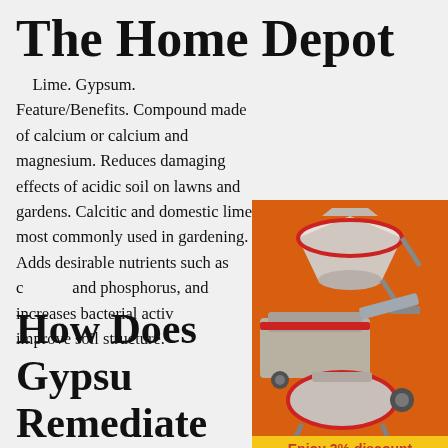The Home Depot
Lime. Gypsum. Feature/Benefits. Compound made of calcium or calcium and magnesium. Reduces damaging effects of acidic soil on lawns and gardens. Calcitic and domestic lime most commonly used in gardening. Adds desirable nutrients such as calcium and phosphorus, and increases bacterial activity to improve soil structure.
How Does Gypsum Remediate Saline And Sodic Soils?
Feb 01, 2014 · Applying gypsum helps remediate sodic soils where sodium that's attached to the exchange complex becomes too high. The most economical way is to add gypsum which supplies calcium. The calcium supplied by gypsum displaces the
[Figure (illustration): Advertisement sidebar with orange background showing industrial mining/crushing machines (cone crusher, jaw crusher, ball mill) in white/grey. Contains 'Enjoy 3% discount' yellow bar, 'Click to Chat' orange button, 'Enquiry' section, and email limingjlmofen@sina.com]